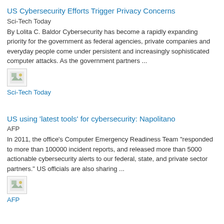US Cybersecurity Efforts Trigger Privacy Concerns
Sci-Tech Today
By Lolita C. Baldor Cybersecurity has become a rapidly expanding priority for the government as federal agencies, private companies and everyday people come under persistent and increasingly sophisticated computer attacks. As the government partners ...
[Figure (photo): Small thumbnail image placeholder]
Sci-Tech Today
US using 'latest tools' for cybersecurity: Napolitano
AFP
In 2011, the office's Computer Emergency Readiness Team "responded to more than 100000 incident reports, and released more than 5000 actionable cybersecurity alerts to our federal, state, and private sector partners." US officials are also sharing ...
[Figure (photo): Small thumbnail image placeholder]
AFP